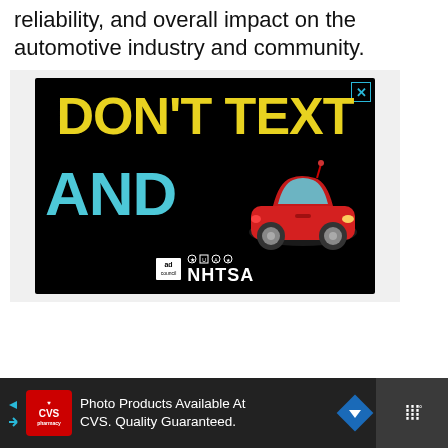reliability, and overall impact on the automotive industry and community.
[Figure (infographic): NHTSA and Ad Council public service advertisement on black background with yellow text 'DON'T TEXT', cyan text 'AND', and a red car emoji, with Ad Council and NHTSA logos at the bottom.]
[Figure (infographic): CVS Pharmacy advertisement banner: 'Photo Products Available At CVS. Quality Guaranteed.' with CVS logo, navigation arrow icon, and weather app icon.]